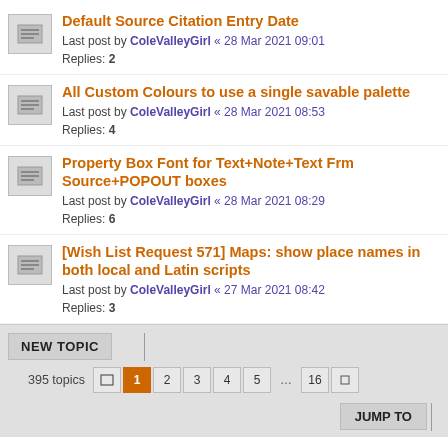Default Source Citation Entry Date
Last post by ColeValleyGirl « 28 Mar 2021 09:01
Replies: 2
All Custom Colours to use a single savable palette
Last post by ColeValleyGirl « 28 Mar 2021 08:53
Replies: 4
Property Box Font for Text+Note+Text Frm Source+POPOUT boxes
Last post by ColeValleyGirl « 28 Mar 2021 08:29
Replies: 6
[Wish List Request 571] Maps: show place names in both local and Latin scripts
Last post by ColeValleyGirl « 27 Mar 2021 08:42
Replies: 3
NEW TOPIC | 395 topics 1 2 3 4 5 … 16 | JUMP TO